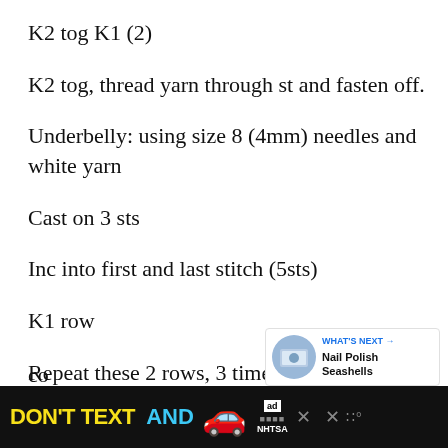K2 tog K1 (2)
K2 tog, thread yarn through st and fasten off.
Underbelly: using size 8 (4mm) needles and white yarn
Cast on 3 sts
Inc into first and last stitch (5sts)
K1 row
Repeat these 2 rows, 3 times. (11sts)
[Figure (other): Blue circular favorite/heart button UI element]
[Figure (other): White circular share button UI element]
[Figure (other): What's Next widget showing Nail Polish Seashells thumbnail and link]
[Figure (other): DON'T TEXT AND DRIVE advertisement banner with car emoji and NHTSA logo]